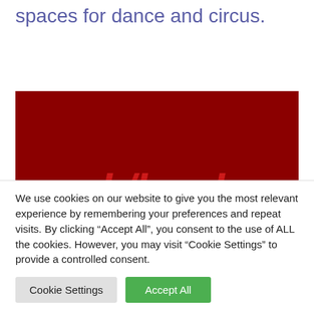spaces for dance and circus.
[Figure (logo): Dark red/maroon background with large italic bold red text reading 'work/book' at the bottom left]
We use cookies on our website to give you the most relevant experience by remembering your preferences and repeat visits. By clicking “Accept All”, you consent to the use of ALL the cookies. However, you may visit “Cookie Settings” to provide a controlled consent.
Cookie Settings | Accept All